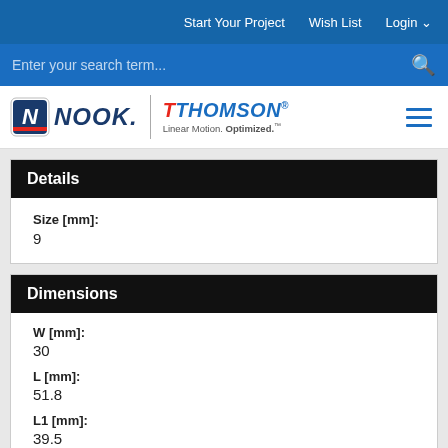Start Your Project   Wish List   Login
Enter your search term...
[Figure (logo): Nook Industries and Thomson Linear Motion Optimized logos with hamburger menu]
Details
Size [mm]: 9
Dimensions
W [mm]: 30
L [mm]: 51.8
L1 [mm]: 39.5
h2 [mm]: